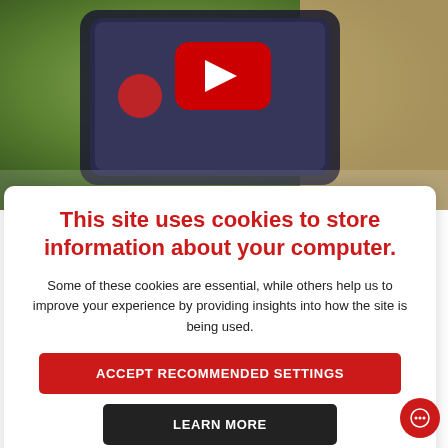[Figure (photo): Background photo of a person holding a smartphone with a YouTube play button overlay. Green blurred background.]
This site uses cookies to store information about your computer.
Some of these cookies are essential, while others help us to improve your experience by providing insights into how the site is being used.
ACCEPT RECOMMENDED SETTINGS
LEARN MORE